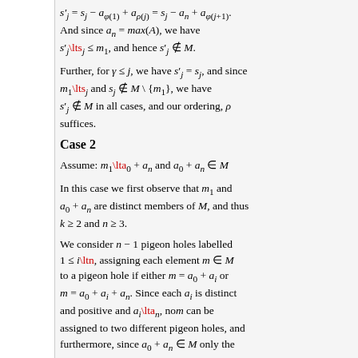s'_j = s_j - a_{phi(1)} + a_{rho(j)} = s_j - a_n + a_{phi(j+1)}. And since a_n = max(A), we have s'_j \lts_j <= m_1, and hence s'_j not in M.
Further, for gamma <= j, we have s'_j = s_j, and since m_1 \lts_j and s_j not in M \ {m_1}, we have s'_j not in M in all cases, and our ordering, rho suffices.
Case 2
Assume: m_1 \lta_0 + a_n and a_0 + a_n in M
In this case we first observe that m_1 and a_0 + a_n are distinct members of M, and thus k >= 2 and n >= 3.
We consider n - 1 pigeon holes labelled 1 <= i \ltn, assigning each element m in M to a pigeon hole if either m = a_0 + a_i or m = a_0 + a_i + a_n. Since each a_i is distinct and positive and a_i \lta_n, nom can be assigned to two different pigeon holes, and furthermore, since a_0 + a_n in M only the remaining k - 1 members of M can be assigned to a pigeon-hole.